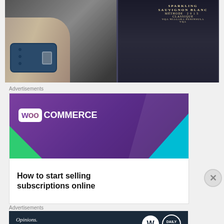[Figure (photo): Hand holding a wine bottle labeled 'Sparkling Sauvignon Blanc Méthode 2015 Classique VQA Niagara Peninsula VQA'. A blue leather watch strap is visible on the wrist.]
Advertisements
[Figure (screenshot): WooCommerce advertisement banner. Purple background with WooCommerce logo on top half. White bottom half reads 'How to start selling subscriptions online'. Green and teal triangle decorations visible.]
Advertisements
[Figure (screenshot): WordPress advertisement. Dark navy background. Text reads 'Opinions. We all have them!' with WordPress logo (W in white circle) and another circular logo.]